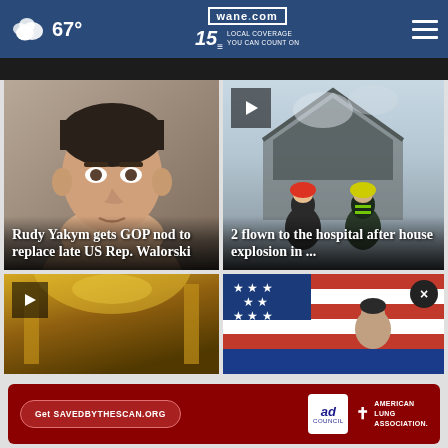67° — wane.com 15 LOCAL COVERAGE YOU CAN COUNT ON
[Figure (photo): Headshot of Rudy Yakym, man in business attire]
Rudy Yakym gets GOP nod to replace late US Rep. Walorski
[Figure (photo): Firefighters at a house explosion scene, smoky blue haze]
2 flown to the hospital after house explosion in ...
[Figure (photo): Gold ornate interior, partial view with play button]
[Figure (photo): American flag and person, partial view with close button]
[Figure (other): Ad banner: Get SAVEDBYTHESCAN.ORG — Ad Council — American Lung Association]